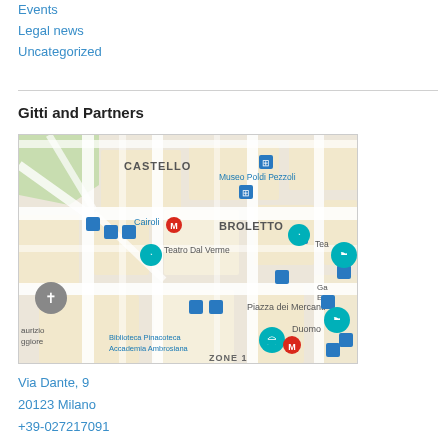Events
Legal news
Uncategorized
Gitti and Partners
[Figure (map): Google Maps view of central Milan around Via Dante 9, showing CASTELLO, BROLETTO, Piazza dei Mercanti, Biblioteca Pinacoteca Accademia Ambrosiana, Museo Poldi Pezzoli, Duomo, Teatro Dal Verme, and various transit/landmark icons.]
Via Dante, 9
20123 Milano
+39-027217091